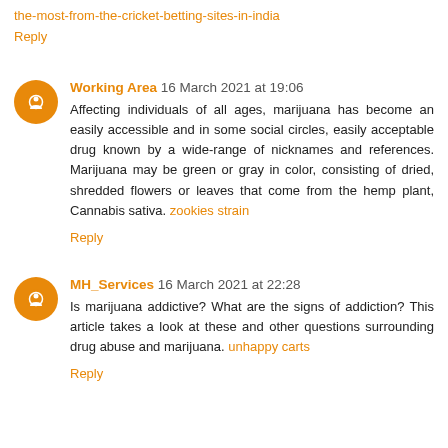the-most-from-the-cricket-betting-sites-in-india
Reply
Working Area  16 March 2021 at 19:06
Affecting individuals of all ages, marijuana has become an easily accessible and in some social circles, easily acceptable drug known by a wide-range of nicknames and references. Marijuana may be green or gray in color, consisting of dried, shredded flowers or leaves that come from the hemp plant, Cannabis sativa. zookies strain
Reply
MH_Services  16 March 2021 at 22:28
Is marijuana addictive? What are the signs of addiction? This article takes a look at these and other questions surrounding drug abuse and marijuana. unhappy carts
Reply